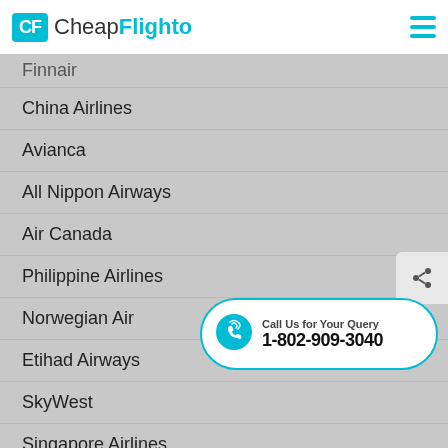CheapFlighto
Finnair
China Airlines
Avianca
All Nippon Airways
Air Canada
Philippine Airlines
Norwegian Air
Etihad Airways
SkyWest
Singapore Airlines
Icelandair
Kuwait Airways
Call Us for Your Query 1-802-909-3040